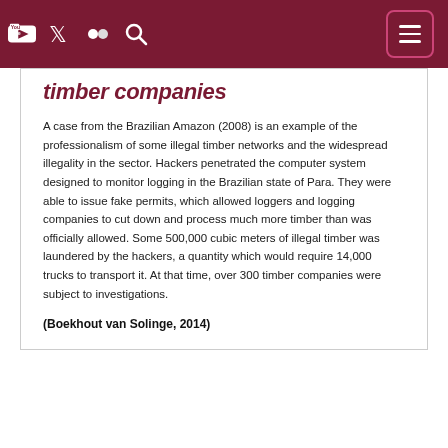[Navigation icons: YouTube, Twitter, Flickr, Search, Menu]
timber companies
A case from the Brazilian Amazon (2008) is an example of the professionalism of some illegal timber networks and the widespread illegality in the sector. Hackers penetrated the computer system designed to monitor logging in the Brazilian state of Para. They were able to issue fake permits, which allowed loggers and logging companies to cut down and process much more timber than was officially allowed. Some 500,000 cubic meters of illegal timber was laundered by the hackers, a quantity which would require 14,000 trucks to transport it. At that time, over 300 timber companies were subject to investigations.
(Boekhout van Solinge, 2014)